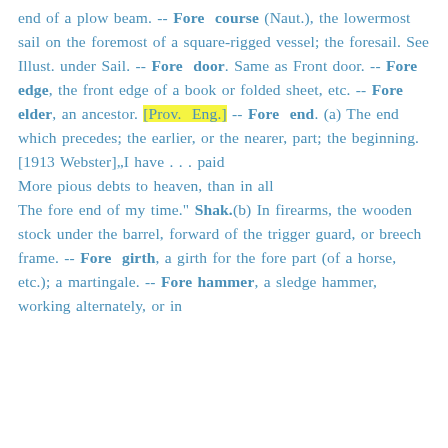end of a plow beam. -- Fore course (Naut.), the lowermost sail on the foremost of a square-rigged vessel; the foresail. See Illust. under Sail. -- Fore door. Same as Front door. -- Fore edge, the front edge of a book or folded sheet, etc. -- Fore elder, an ancestor. [Prov. Eng.] -- Fore end. (a) The end which precedes; the earlier, or the nearer, part; the beginning. [1913 Webster]"I have . . . paid More pious debts to heaven, than in all The fore end of my time." Shak.(b) In firearms, the wooden stock under the barrel, forward of the trigger guard, or breech frame. -- Fore girth, a girth for the fore part (of a horse, etc.); a martingale. -- Fore hammer, a sledge hammer, working alternately, or in